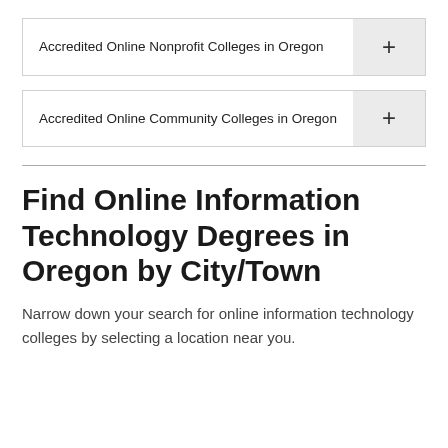Accredited Online Nonprofit Colleges in Oregon
Accredited Online Community Colleges in Oregon
Find Online Information Technology Degrees in Oregon by City/Town
Narrow down your search for online information technology colleges by selecting a location near you.